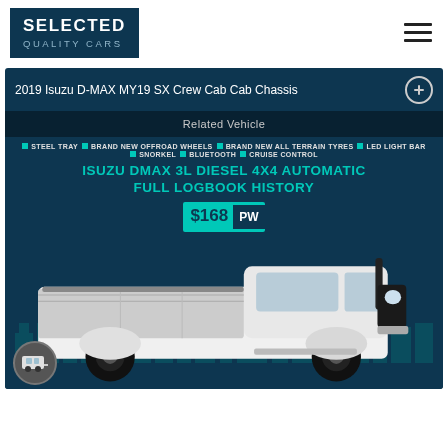[Figure (logo): Selected Quality Cars logo — dark navy background with SELECTED in bold white and QUALITY CARS in light blue smaller text]
2019 Isuzu D-MAX MY19 SX Crew Cab Cab Chassis
Related Vehicle
STEEL TRAY  BRAND NEW OFFROAD WHEELS  BRAND NEW ALL TERRAIN TYRES  LED LIGHT BAR  SNORKEL  BLUETOOTH  CRUISE CONTROL
ISUZU DMAX 3L DIESEL 4X4 AUTOMATIC FULL LOGBOOK HISTORY
$168 PW
[Figure (photo): White Isuzu D-MAX dual cab ute with steel tray, black alloy wheels, and snorkel, on a white background with dark teal city silhouette behind]